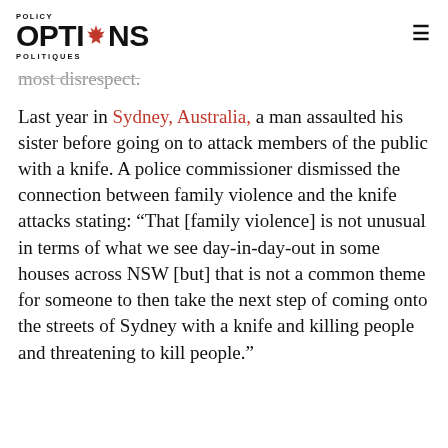POLICY OPTIONS POLITIQUES
most disrespect.
Last year in Sydney, Australia, a man assaulted his sister before going on to attack members of the public with a knife. A police commissioner dismissed the connection between family violence and the knife attacks stating: “That [family violence] is not unusual in terms of what we see day-in-day-out in some houses across NSW [but] that is not a common theme for someone to then take the next step of coming onto the streets of Sydney with a knife and killing people and threatening to kill people.”